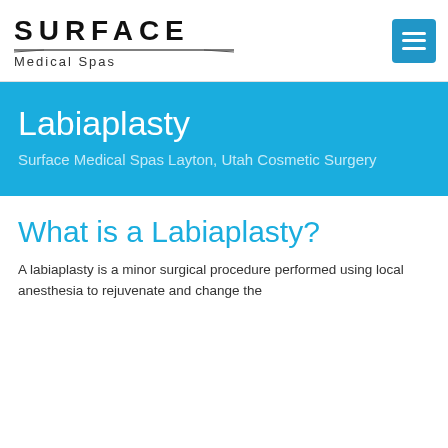Surface Medical Spas
Labiaplasty
Surface Medical Spas Layton, Utah Cosmetic Surgery
What is a Labiaplasty?
A labiaplasty is a minor surgical procedure performed using local anesthesia to rejuvenate and change the